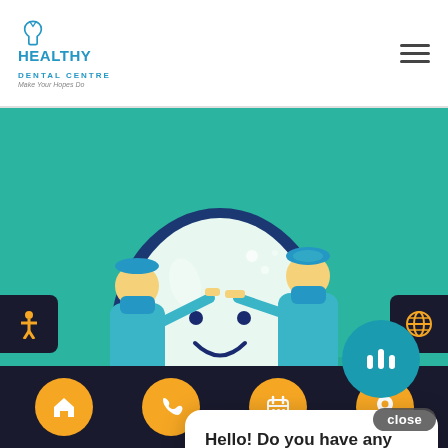Healthy Dental Centre — Make Your Hopes Do
[Figure (illustration): Cartoon dental illustration with two teal-colored dental professionals cleaning a large smiling tooth character, set against a bright green background]
A General Dentistry Guide To Effective Oral Hygiene
The purpose of general dentistry is to help patients prevent oral health concerns from ever developing through regular cleaning visits a...
[Figure (screenshot): Chat popup overlay with 'close' button and message: Hello! Do you have any questions that I can help with?]
[Figure (other): Teal circular chat/voice icon button in bottom right area]
Bottom navigation bar with home, phone, calendar, and location icon buttons